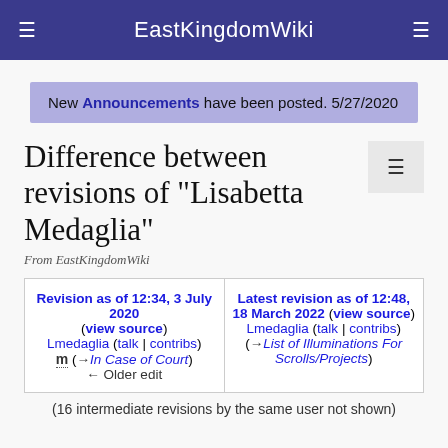EastKingdomWiki
New Announcements have been posted. 5/27/2020
Difference between revisions of "Lisabetta Medaglia"
From EastKingdomWiki
| Revision as of 12:34, 3 July 2020 (view source) | Latest revision as of 12:48, 18 March 2022 (view source) |
| --- | --- |
| Lmedaglia (talk | contribs) | Lmedaglia (talk | contribs) |
| m (→In Case of Court) | (→List of Illuminations For Scrolls/Projects) |
| ← Older edit |  |
(16 intermediate revisions by the same user not shown)